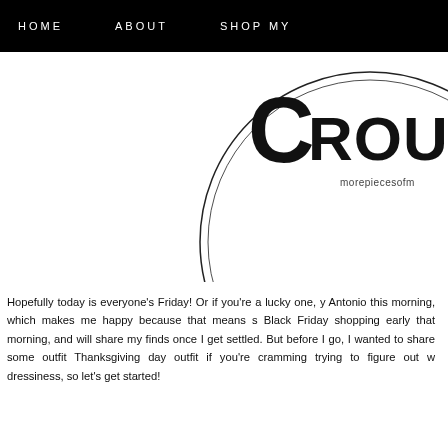HOME   ABOUT   SHOP MY
[Figure (logo): Partial circular logo with letter C and text ROUN (truncated), with 'morepiecesof' text beneath, black and white illustration]
Hopefully today is everyone's Friday! Or if you're a lucky one, y Antonio this morning, which makes me happy because that means s Black Friday shopping early that morning, and will share my finds once I get settled. But before I go, I wanted to share some outfit Thanksgiving day outfit if you're cramming trying to figure out w dressiness, so let's get started!